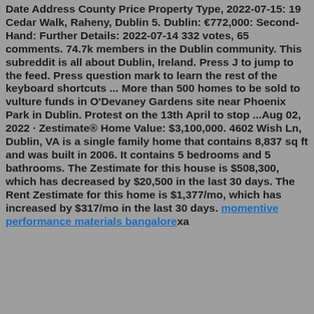Date Address County Price Property Type, 2022-07-15: 19 Cedar Walk, Raheny, Dublin 5. Dublin: €772,000: Second-Hand: Further Details: 2022-07-14 332 votes, 65 comments. 74.7k members in the Dublin community. This subreddit is all about Dublin, Ireland. Press J to jump to the feed. Press question mark to learn the rest of the keyboard shortcuts ... More than 500 homes to be sold to vulture funds in O'Devaney Gardens site near Phoenix Park in Dublin. Protest on the 13th April to stop ...Aug 02, 2022 · Zestimate® Home Value: $3,100,000. 4602 Wish Ln, Dublin, VA is a single family home that contains 8,837 sq ft and was built in 2006. It contains 5 bedrooms and 5 bathrooms. The Zestimate for this house is $508,300, which has decreased by $20,500 in the last 30 days. The Rent Zestimate for this home is $1,377/mo, which has increased by $317/mo in the last 30 days. momentive performance materials bangalorex a